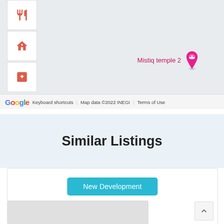[Figure (map): Google Maps screenshot showing location of 'Mistiq temple 2' with a pink hotel pin marker. Left sidebar shows icons for restaurant, medical/house, and hospital. Map footer shows Google logo, keyboard shortcuts, Map data ©2022 INEGI, Terms of Use.]
Similar Listings
[Figure (screenshot): Partial listing card with 'New Development' button in cyan/teal color, and a gray image placeholder at the bottom. A scroll-to-top arrow button is visible at bottom right.]